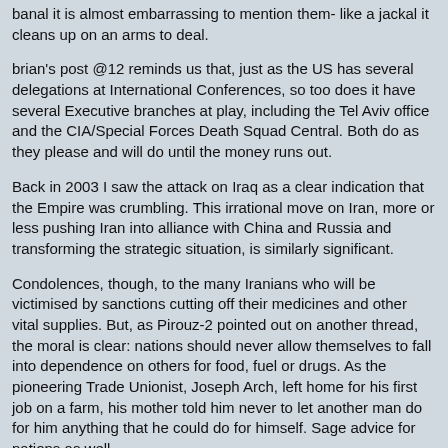banal it is almost embarrassing to mention them- like a jackal it cleans up on an arms to deal.
brian's post @12 reminds us that, just as the US has several delegations at International Conferences, so too does it have several Executive branches at play, including the Tel Aviv office and the CIA/Special Forces Death Squad Central. Both do as they please and will do until the money runs out.
Back in 2003 I saw the attack on Iraq as a clear indication that the Empire was crumbling. This irrational move on Iran, more or less pushing Iran into alliance with China and Russia and transforming the strategic situation, is similarly significant.
Condolences, though, to the many Iranians who will be victimised by sanctions cutting off their medicines and other vital supplies. But, as Pirouz-2 pointed out on another thread, the moral is clear: nations should never allow themselves to fall into dependence on others for food, fuel or drugs. As the pioneering Trade Unionist, Joseph Arch, left home for his first job on a farm, his mother told him never to let another man do for him anything that he could do for himself. Sage advice for nations as well.
Posted by: bevin | Nov 10 2013 14:32 utc | 15